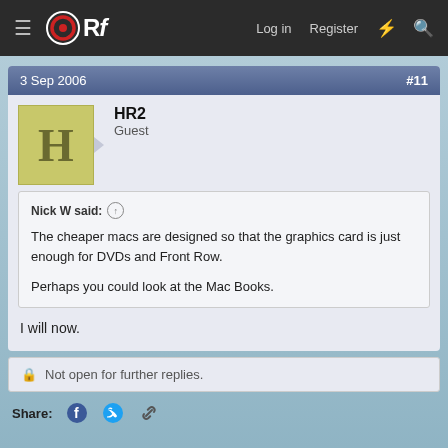ORf — Log in  Register
3 Sep 2006    #11
HR2
Guest
Nick W said: ↑
The cheaper macs are designed so that the graphics card is just enough for DVDs and Front Row.

Perhaps you could look at the Mac Books.
I will now.
Not open for further replies.
Share: